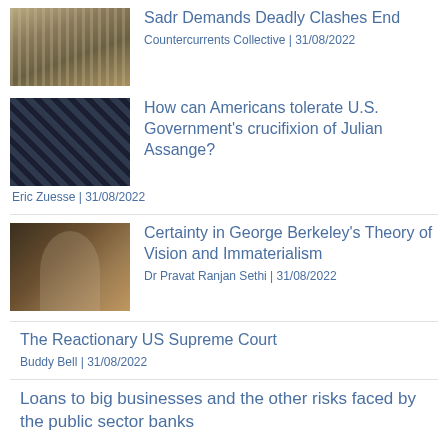[Figure (photo): Thumbnail photo of crowd scene, Sadr article]
Sadr Demands Deadly Clashes End
Countercurrents Collective | 31/08/2022
[Figure (photo): Thumbnail photo with dark diagonal stripes pattern, Assange article]
How can Americans tolerate U.S. Government's crucifixion of Julian Assange?
Eric Zuesse | 31/08/2022
[Figure (photo): Thumbnail portrait painting of George Berkeley]
Certainty in George Berkeley's Theory of Vision and Immaterialism
Dr Pravat Ranjan Sethi | 31/08/2022
The Reactionary US Supreme Court
Buddy Bell | 31/08/2022
Loans to big businesses and the other risks faced by the public sector banks